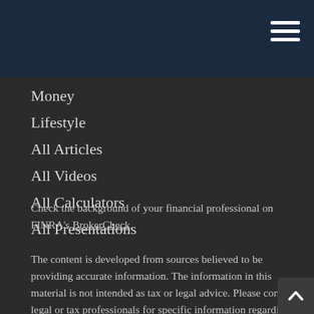Money
Lifestyle
All Articles
All Videos
All Calculators
All Presentations
Check the background of your financial professional on FINRA's BrokerCheck.
The content is developed from sources believed to be providing accurate information. The information in this material is not intended as tax or legal advice. Please consult legal or tax professionals for specific information regarding your individual situation. Some of this material was developed and produced by FMG Suite to provide information on a topic that may be of interest. FMG Suite is